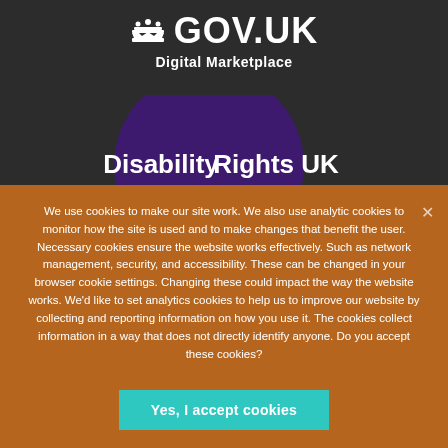[Figure (logo): GOV.UK Digital Marketplace logo with crown icon and text on dark background]
[Figure (logo): Disability Rights UK logo - purple circle with white text on dark background]
We use cookies to make our site work. We also use analytic cookies to monitor how the site is used and to make changes that benefit the user. Necessary cookies ensure the website works effectively. Such as network management, security, and accessibility. These can be changed in your browser cookie settings. Changing these could impact the way the website works. We'd like to set analytics cookies to help us to improve our website by collecting and reporting information on how you use it. The cookies collect information in a way that does not directly identify anyone. Do you accept these cookies?
Yes, I accept cookies